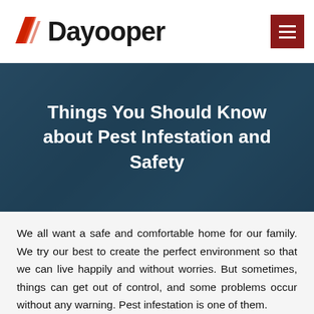Dayooper
Things You Should Know about Pest Infestation and Safety
We all want a safe and comfortable home for our family. We try our best to create the perfect environment so that we can live happily and without worries. But sometimes, things can get out of control, and some problems occur without any warning. Pest infestation is one of them.